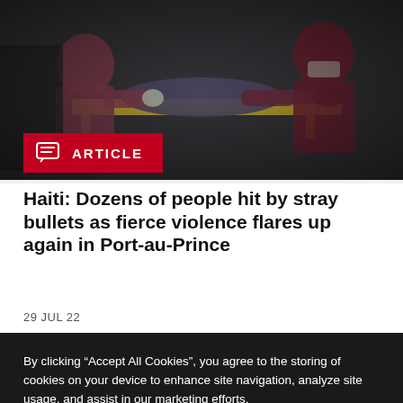[Figure (photo): Medical workers loading a patient on a stretcher into an ambulance, emergency scene, dark tones with figures in maroon/purple shirts and face masks]
ARTICLE
Haiti: Dozens of people hit by stray bullets as fierce violence flares up again in Port-au-Prince
29 JUL 22
By clicking “Accept All Cookies”, you agree to the storing of cookies on your device to enhance site navigation, analyze site usage, and assist in our marketing efforts.
Cookies Settings
Accept All Cookies